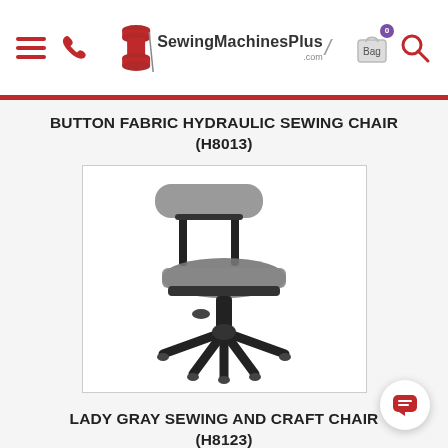SewingMachinesPlus.com — navigation header with hamburger menu, phone icon, logo, bag (0), and search icon
BUTTON FABRIC HYDRAULIC SEWING CHAIR (H8013)
[Figure (photo): A gray upholstered hydraulic sewing chair with black metal frame and five-wheel caster base, adjustable height via gas lift.]
LADY GRAY SEWING AND CRAFT CHAIR (H8123)